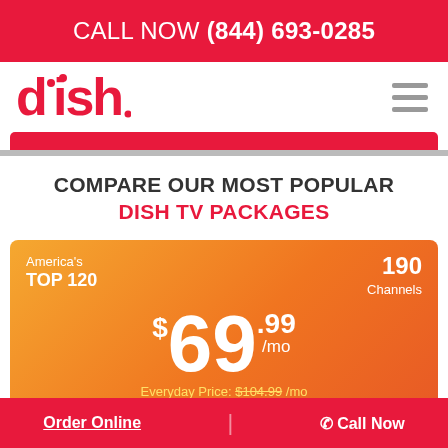CALL NOW (844) 693-0285
[Figure (logo): DISH Network logo in red with satellite dish icon]
COMPARE OUR MOST POPULAR DISH TV PACKAGES
America's TOP 120 | 190 Channels | $69.99/mo | Everyday Price: $104.99/mo
Order Online | Call Now